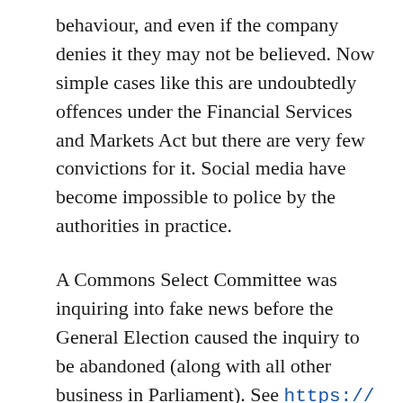behaviour, and even if the company denies it they may not be believed. Now simple cases like this are undoubtedly offences under the Financial Services and Markets Act but there are very few convictions for it. Social media have become impossible to police by the authorities in practice.
A Commons Select Committee was inquiring into fake news before the General Election caused the inquiry to be abandoned (along with all other business in Parliament). See https://www.parliament.uk/business/committees/committees-a-z/commons-select/culture-media-and-sport-committee/inquiries/parliament-